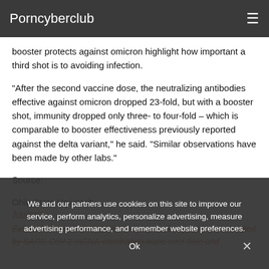Porncyberclub
booster protects against omicron highlight how important a third shot is to avoiding infection.
"After the second vaccine dose, the neutralizing antibodies effective against omicron dropped 23-fold, but with a booster shot, immunity dropped only three- to four-fold – which is comparable to booster effectiveness previously reported against the delta variant," he said. "Similar observations have been made by other labs."
Source:
Ohio State University
Journal:
Evans, J. P., et al. (2022) Neutralizing antibody responses elicited by SARS-CoV-2 mRNA vaccination wane over time and
We and our partners use cookies on this site to improve our service, perform analytics, personalize advertising, measure advertising performance, and remember website preferences.